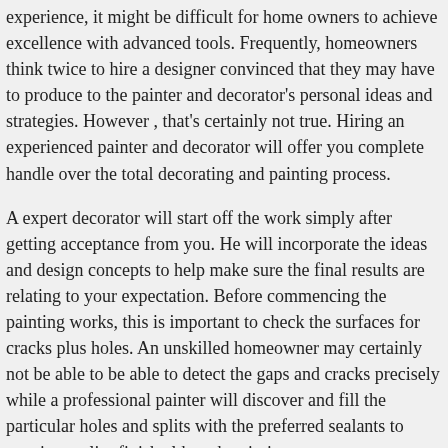experience, it might be difficult for home owners to achieve excellence with advanced tools. Frequently, homeowners think twice to hire a designer convinced that they may have to produce to the painter and decorator's personal ideas and strategies. However , that's certainly not true. Hiring an experienced painter and decorator will offer you complete handle over the total decorating and painting process.
A expert decorator will start off the work simply after getting acceptance from you. He will incorporate the ideas and design concepts to help make sure the final results are relating to your expectation. Before commencing the painting works, this is important to check the surfaces for cracks plus holes. An unskilled homeowner may certainly not be able to be able to detect the gaps and cracks precisely while a professional painter will discover and fill the particular holes and splits with the preferred sealants to acquire quality finish although painting.